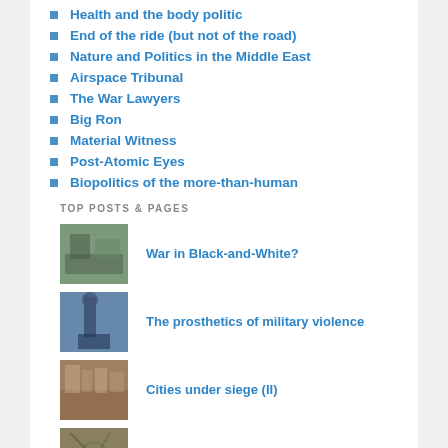Health and the body politic
End of the ride (but not of the road)
Nature and Politics in the Middle East
Airspace Tribunal
The War Lawyers
Big Ron
Material Witness
Post-Atomic Eyes
Biopolitics of the more-than-human
TOP POSTS & PAGES
War in Black-and-White?
The prosthetics of military violence
Cities under siege (II)
Cologne and the geometry of destruction